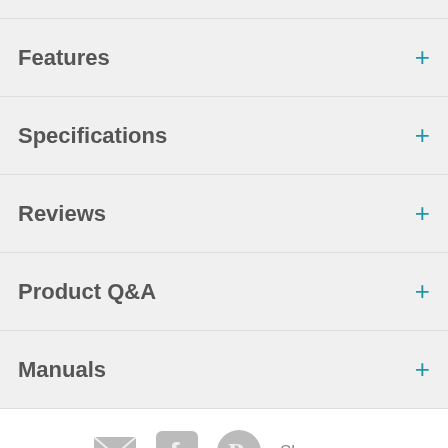Features
Specifications
Reviews
Product Q&A
Manuals
[Figure (screenshot): Social share icons: email, Facebook, Pinterest, and Share label]
[Figure (screenshot): Live Chat Offline bubble button]
[Figure (screenshot): Quantity selector (minus, 1, plus) and Add To Cart button]